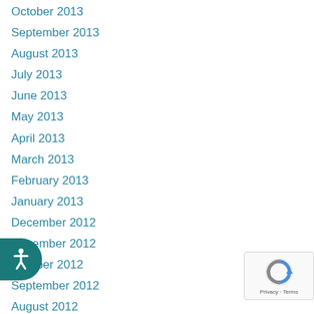October 2013
September 2013
August 2013
July 2013
June 2013
May 2013
April 2013
March 2013
February 2013
January 2013
December 2012
November 2012
October 2012
September 2012
August 2012
July 2012
June 2012
May 2012